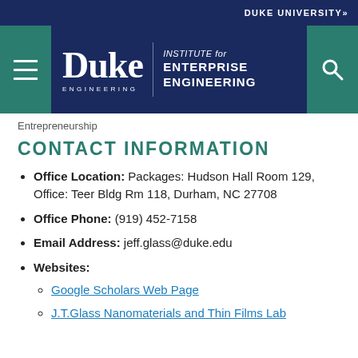DUKE UNIVERSITY»
[Figure (logo): Duke Engineering Institute for Enterprise Engineering logo with menu and search buttons]
Entrepreneurship
CONTACT INFORMATION
Office Location: Packages: Hudson Hall Room 129, Office: Teer Bldg Rm 118, Durham, NC 27708
Office Phone: (919) 452-7158
Email Address: jeff.glass@duke.edu
Websites:
Google Scholars Web Page
J.T.Glass Nanomaterials and Thin Films Lab